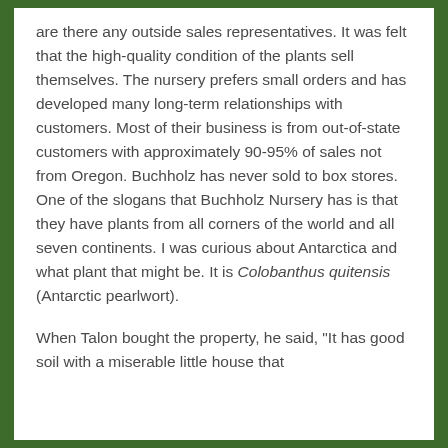are there any outside sales representatives. It was felt that the high-quality condition of the plants sell themselves. The nursery prefers small orders and has developed many long-term relationships with customers. Most of their business is from out-of-state customers with approximately 90-95% of sales not from Oregon. Buchholz has never sold to box stores. One of the slogans that Buchholz Nursery has is that they have plants from all corners of the world and all seven continents. I was curious about Antarctica and what plant that might be. It is Colobanthus quitensis (Antarctic pearlwort).
When Talon bought the property, he said, "It has good soil with a miserable little house that